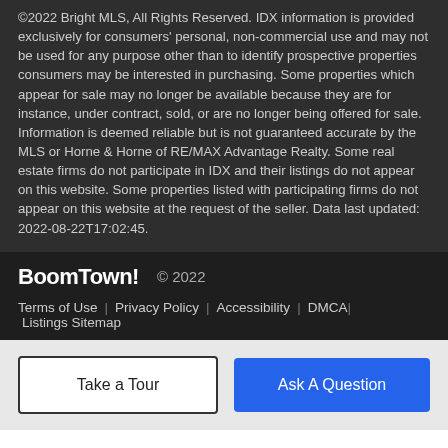©2022 Bright MLS, All Rights Reserved. IDX information is provided exclusively for consumers' personal, non-commercial use and may not be used for any purpose other than to identify prospective properties consumers may be interested in purchasing. Some properties which appear for sale may no longer be available because they are for instance, under contract, sold, or are no longer being offered for sale. Information is deemed reliable but is not guaranteed accurate by the MLS or Horne & Horne of RE/MAX Advantage Realty. Some real estate firms do not participate in IDX and their listings do not appear on this website. Some properties listed with participating firms do not appear on this website at the request of the seller. Data last updated: 2022-08-22T17:02:45.
BoomTown! © 2022 | Terms of Use | Privacy Policy | Accessibility | DMCA | Listings Sitemap
Take a Tour
Ask A Question